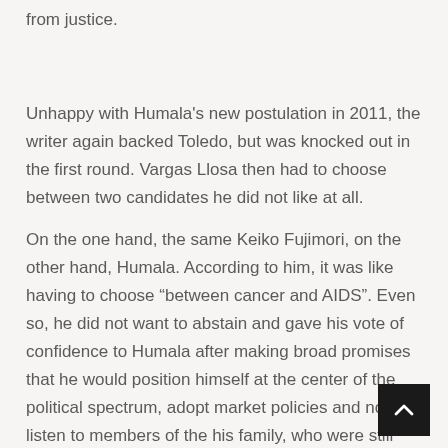from justice.
Unhappy with Humala's new postulation in 2011, the writer again backed Toledo, but was knocked out in the first round. Vargas Llosa then had to choose between two candidates he did not like at all.
On the one hand, the same Keiko Fujimori, on the other hand, Humala. According to him, it was like having to choose “between cancer and AIDS”. Even so, he did not want to abstain and gave his vote of confidence to Humala after making broad promises that he would position himself at the center of the political spectrum, adopt market policies and not listen to members of the his family, who were still very much involved in activism, left extremist. Today, Humala also faces corruption charges and has spent time in prison.